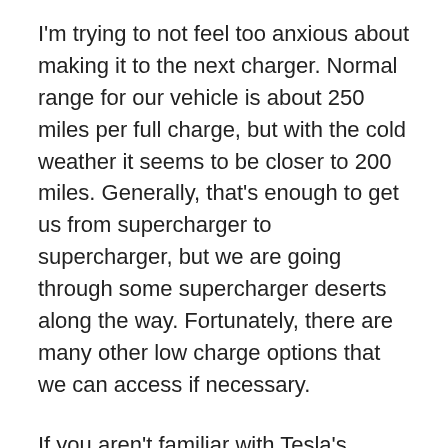I'm trying to not feel too anxious about making it to the next charger. Normal range for our vehicle is about 250 miles per full charge, but with the cold weather it seems to be closer to 200 miles. Generally, that's enough to get us from supercharger to supercharger, but we are going through some supercharger deserts along the way. Fortunately, there are many other low charge options that we can access if necessary.
If you aren't familiar with Tesla's Superchargers and their network, here's a short primer. Tesla has over 3,600 Superchargers in the US so far, and is adding more daily. As a Tesla owner, we can use these facilities at no cost, and achieve a full charge in 45 minutes or less, depending on how far the battery has been drained. In addition to the superchargers, there are another 3,700 destination chargers – hotels or restaurants with slower chargers –